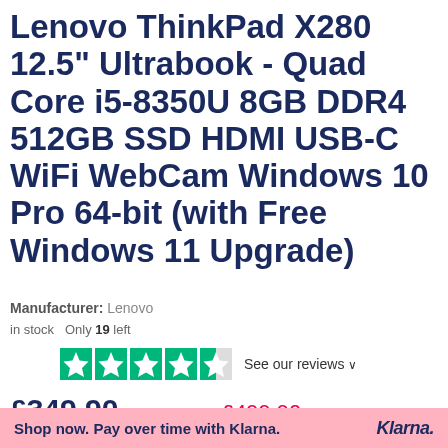Lenovo ThinkPad X280 12.5" Ultrabook - Quad Core i5-8350U 8GB DDR4 512GB SSD HDMI USB-C WiFi WebCam Windows 10 Pro 64-bit (with Free Windows 11 Upgrade)
Manufacturer: Lenovo
in stock  Only 19 left
[Figure (other): Trustpilot 4.5 star rating with 5 green star icons (last partially filled) and text 'See our reviews']
£349.90  Excl. VAT: £291.58  £499.90
Shop now. Pay over time with Klarna.  Klarna.